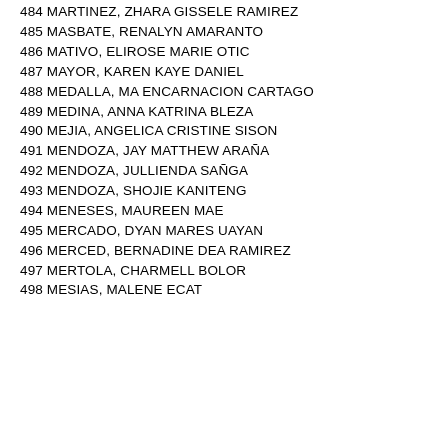484 MARTINEZ, ZHARA GISSELE RAMIREZ
485 MASBATE, RENALYN AMARANTO
486 MATIVO, ELIROSE MARIE OTIC
487 MAYOR, KAREN KAYE DANIEL
488 MEDALLA, MA ENCARNACION CARTAGO
489 MEDINA, ANNA KATRINA BLEZA
490 MEJIA, ANGELICA CRISTINE SISON
491 MENDOZA, JAY MATTHEW ARAÑA
492 MENDOZA, JULLIENDA SAÑGA
493 MENDOZA, SHOJIE KANITENG
494 MENESES, MAUREEN MAE
495 MERCADO, DYAN MARES UAYAN
496 MERCED, BERNADINE DEA RAMIREZ
497 MERTOLA, CHARMELL BOLOR
498 MESIAS, MALENE ECAT